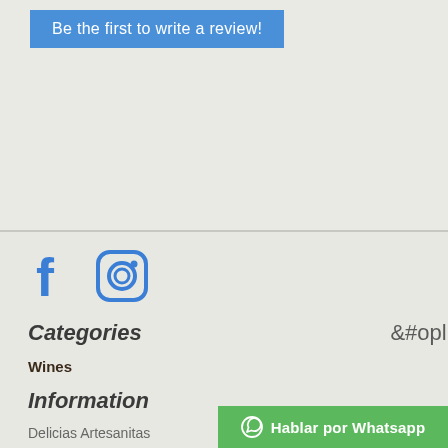Be the first to write a review!
[Figure (logo): Facebook icon (blue letter F)]
[Figure (logo): Instagram icon (blue camera outline)]
Categories
Wines
Information
Delicias Artesanitas
My account
Hablar por Whatsapp